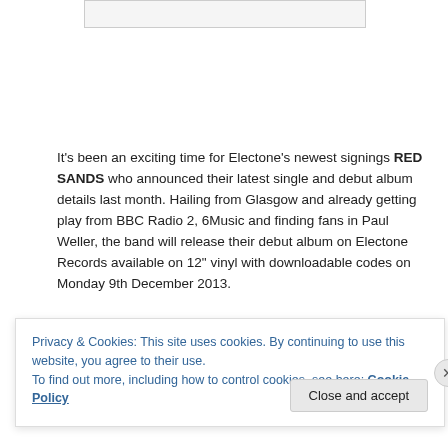[Figure (other): Partial image placeholder at top of page]
It's been an exciting time for Electone's newest signings RED SANDS who announced their latest single and debut album details last month. Hailing from Glasgow and already getting play from BBC Radio 2, 6Music and finding fans in Paul Weller, the band will release their debut album on Electone Records available on 12" vinyl with downloadable codes on Monday 9th December 2013.
Privacy & Cookies: This site uses cookies. By continuing to use this website, you agree to their use.
To find out more, including how to control cookies, see here: Cookie Policy